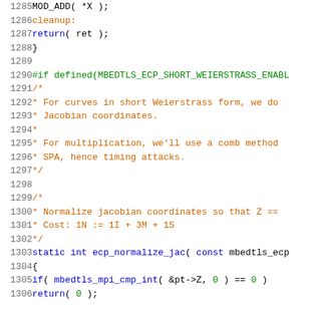[Figure (screenshot): Source code listing in C, lines 1285-1306, showing cleanup label, return statement, closing brace, preprocessor directive for MBEDTLS_ECP_SHORT_WEIERSTRASS_ENABLED, block comments about Weierstrass curves and Jacobian coordinates, and beginning of ecp_normalize_jac function definition.]